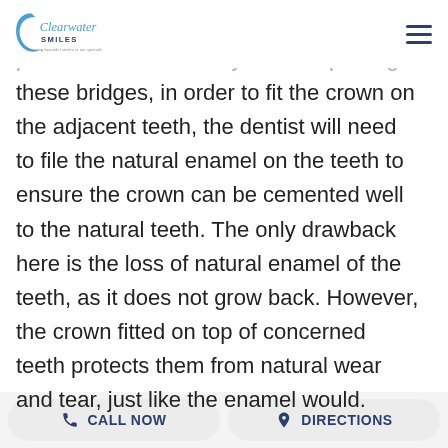Clearwater Smiles
Traditional bridges are mostly made of porcelain or metal alloys. When placing these bridges, in order to fit the crown on the adjacent teeth, the dentist will need to file the natural enamel on the teeth to ensure the crown can be cemented well to the natural teeth. The only drawback here is the loss of natural enamel of the teeth, as it does not grow back. However, the crown fitted on top of concerned teeth protects them from natural wear and tear, just like the enamel would.
CALL NOW   DIRECTIONS